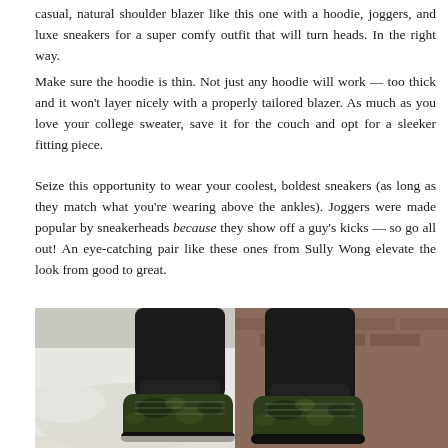casual, natural shoulder blazer like this one with a hoodie, joggers, and luxe sneakers for a super comfy outfit that will turn heads. In the right way.
Make sure the hoodie is thin. Not just any hoodie will work — too thick and it won't layer nicely with a properly tailored blazer. As much as you love your college sweater, save it for the couch and opt for a sleeker fitting piece.
Seize this opportunity to wear your coolest, boldest sneakers (as long as they match what you're wearing above the ankles). Joggers were made popular by sneakerheads because they show off a guy's kicks — so go all out! An eye-catching pair like these ones from Sully Wong elevate the look from good to great.
[Figure (photo): Close-up photo of a person's legs wearing black joggers and green camouflage high-top sneakers, standing on a snowy brick surface outdoors.]